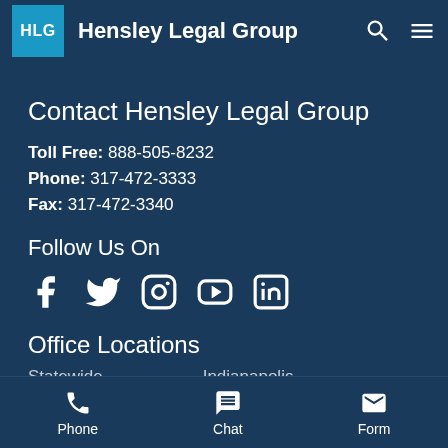HLG Hensley Legal Group
Contact Hensley Legal Group
Toll Free: 888-505-8232
Phone: 317-472-3333
Fax: 317-472-3340
Follow Us On
[Figure (other): Social media icons: Facebook, Twitter, Instagram, YouTube, LinkedIn]
Office Locations
Statewide   Indianapolis
Phone  Chat  Form